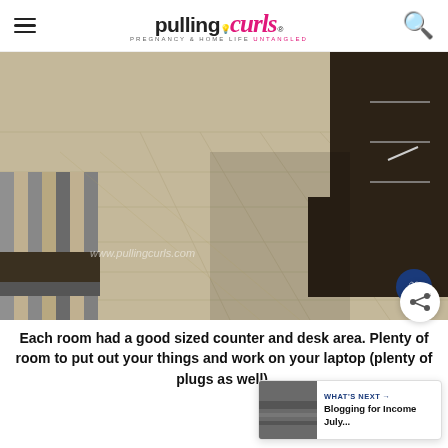pulling curls — PREGNANCY & HOME LIFE UNTANGLED
[Figure (photo): Hotel room floor and desk area showing tile/wood floor pattern and dark wood furniture, with stripe material samples visible on left side. Watermark reads www.pullingcurls.com]
Each room had a good sized counter and desk area. Plenty of room to put out your things and work on your laptop (plenty of plugs as well).